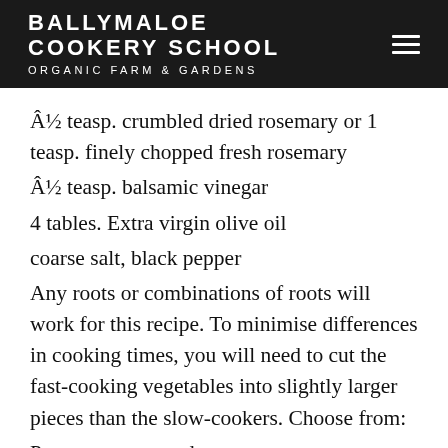BALLYMALOE COOKERY SCHOOL ORGANIC FARM & GARDENS
Â½ teasp. crumbled dried rosemary or 1 teasp. finely chopped fresh rosemary
Â½ teasp. balsamic vinegar
4 tables. Extra virgin olive oil
coarse salt, black pepper
Any roots or combinations of roots will work for this recipe. To minimise differences in cooking times, you will need to cut the fast-cooking vegetables into slightly larger pieces than the slow-cookers. Choose from:
Potatoes, quartered
Carrots, halved lengthwise